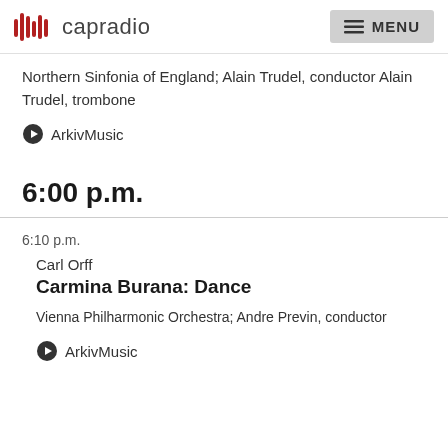capradio  MENU
Northern Sinfonia of England; Alain Trudel, conductor Alain Trudel, trombone
ArkivMusic
6:00 p.m.
6:10 p.m.
Carl Orff
Carmina Burana: Dance
Vienna Philharmonic Orchestra; Andre Previn, conductor
ArkivMusic